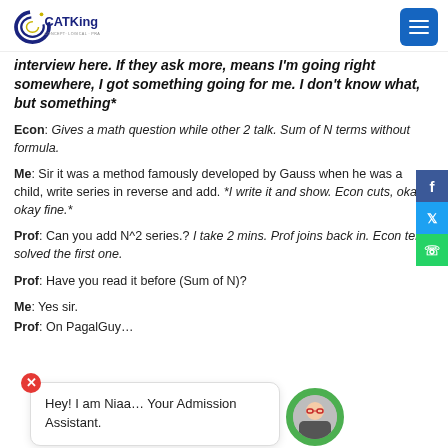CATKing
interview here. If they ask more, means I'm going right somewhere, I got something going for me. I don't know what, but something*
Econ: Gives a math question while other 2 talk. Sum of N terms without formula.
Me: Sir it was a method famously developed by Gauss when he was a child, write series in reverse and add. *I write it and show. Econ cuts, okay okay fine.*
Prof: Can you add N^2 series.? I take 2 mins. Prof joins back in. Econ tells I solved the first one.
Prof: Have you read it before (Sum of N)?
Me: Yes sir.
Prof: On PagalGuy…